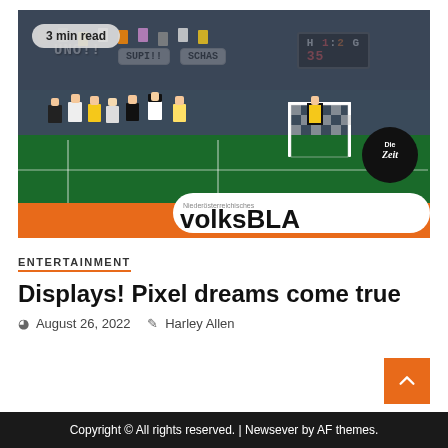[Figure (photo): Pixel-art style soccer/football installation artwork in a gallery or museum setting. Shows blocky 8-bit style characters on a green field with a goal, scoreboard showing H 1:2 G and number 35, speech bubbles saying SUPI!!, SCHAS and other text, a rolled newspaper showing 'volksBLA' text, and a Die Zeit badge. Orange banner at the bottom of the image.]
ENTERTAINMENT
Displays! Pixel dreams come true
August 26, 2022   Harley Allen
Copyright © All rights reserved. | Newsever by AF themes.